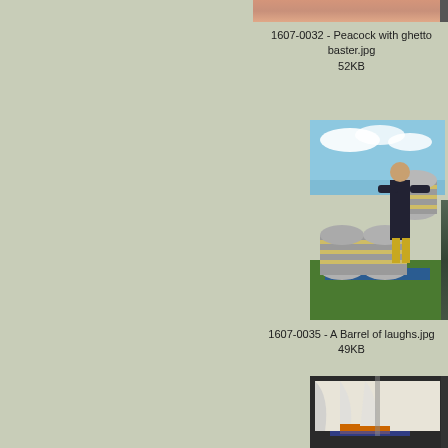[Figure (photo): Partial cropped photo at top center, appears to be skin/peacock texture]
1607-0032 - Peacock with ghetto baster.jpg
52KB
[Figure (photo): Man stacking metal beer kegs/barrels outdoors on grass under blue sky with clouds]
1607-0035 - A Barrel of laughs.jpg
49KB
[Figure (photo): Interior of a large tent/marquee with equipment inside, partially visible]
[Figure (photo): Partial right-side photo, partially cropped]